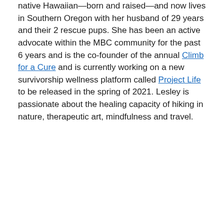native Hawaiian—born and raised—and now lives in Southern Oregon with her husband of 29 years and their 2 rescue pups. She has been an active advocate within the MBC community for the past 6 years and is the co-founder of the annual Climb for a Cure and is currently working on a new survivorship wellness platform called Project Life to be released in the spring of 2021. Lesley is passionate about the healing capacity of hiking in nature, therapeutic art, mindfulness and travel.
Learn More
[Figure (screenshot): YouTube video thumbnail showing 'Life with Triple Positive Metast...' with MBC Alliance logo and a partial image of a person.]